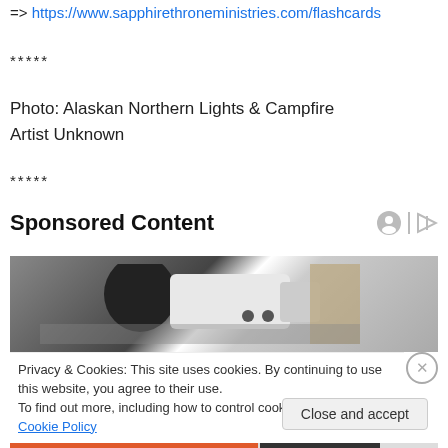=> https://www.sapphirethroneministries.com/flashcards
*****
Photo: Alaskan Northern Lights & Campfire
Artist Unknown
*****
Sponsored Content
[Figure (photo): Sponsored content advertisement showing a van or vehicle, partially visible, with outdoor scenery in the background.]
Privacy & Cookies: This site uses cookies. By continuing to use this website, you agree to their use.
To find out more, including how to control cookies, see here: Cookie Policy
Close and accept